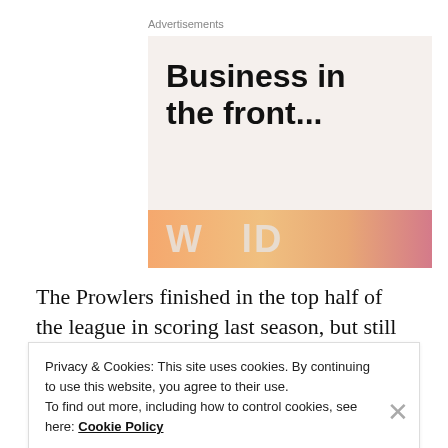Advertisements
[Figure (screenshot): Advertisement box with dark bold text 'Business in the front...' on a light beige background, with a gradient orange-to-pink banner at the bottom showing partial large text 'W...lD']
The Prowlers finished in the top half of the league in scoring last season, but still missed the playoffs due
Privacy & Cookies: This site uses cookies. By continuing to use this website, you agree to their use.
To find out more, including how to control cookies, see here: Cookie Policy
Close and accept